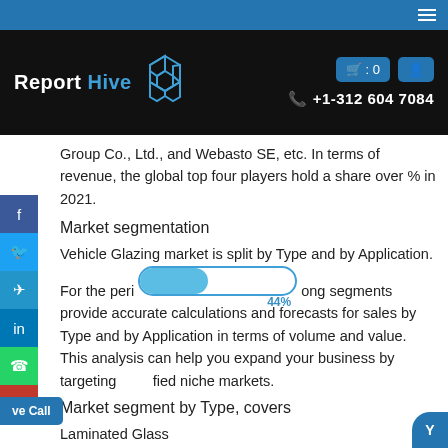Report Hive — +1-312 604 7084
Group Co., Ltd., and Webasto SE, etc. In terms of revenue, the global top four players hold a share over % in 2021.
Market segmentation
Vehicle Glazing market is split by Type and by Application. For the period [progress bar 44%] ong segments provide accurate calculations and forecasts for sales by Type and by Application in terms of volume and value. This analysis can help you expand your business by targeting [live call] fied niche markets.
Market segment by Type, covers
Laminated Glass
Tempered Glass
Polycarbonate
Market segment by Application can be divided into